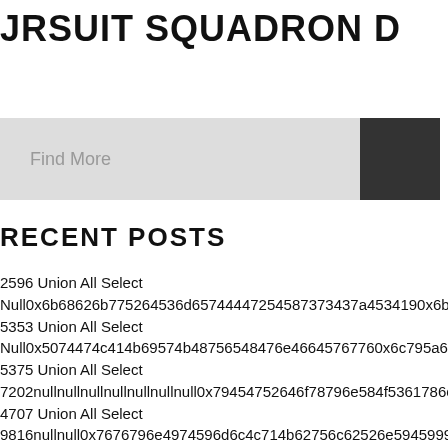JRSUIT SQUADRON D
[Figure (other): Search bar with 'Find More' placeholder text and a dark search button on the right]
RECENT POSTS
2596 Union All Select
Null0x6b68626b775264536d65744447254587373437a4534190x6b445962634
5353 Union All Select
Null0x5074474c414b69574b48756548476e46645767760x6c795a684d5a734
5375 Union All Select
7202nullnullnullnullnullnullnull0x79454752646f78796e584f5361786c496a776
4707 Union All Select
9816nullnull0x7676796e4974596d6c4c714b62756c62526e5945999850x6d6a4
3638 Union All Select
8047nullnull0x467851694e7a6a45764b4d5a6175767a6c5945790x65466c4b6
6022 Union All Select
4059null6534null93040x796b7467634c586b694558734d4a4f454476457115